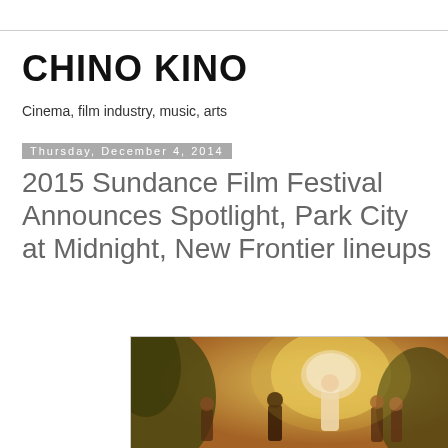CHINO KINO
Cinema, film industry, music, arts
Thursday, December 4, 2014
2015 Sundance Film Festival Announces Spotlight, Park City at Midnight, New Frontier lineups
[Figure (photo): A warm-toned scene with figures in a tropical/jungle setting, with soft golden light, a child silhouetted in foreground and a woman in white in the center background]